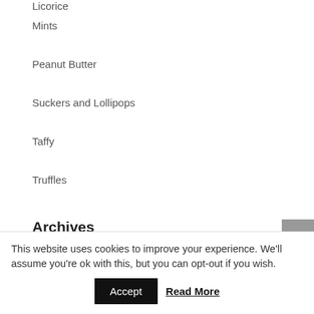Licorice
Mints
Peanut Butter
Suckers and Lollipops
Taffy
Truffles
Archives
August 2022
July 2022
June 2022
May 2022
This website uses cookies to improve your experience. We'll assume you're ok with this, but you can opt-out if you wish.